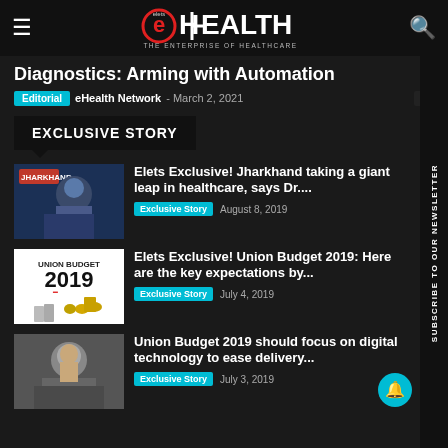eHEALTH — THE ENTERPRISE OF HEALTHCARE
Diagnostics: Arming with Automation
Editorial  eHealth Network  -  March 2, 2021  0
EXCLUSIVE STORY
[Figure (photo): Photo of a man speaking at a conference with red backdrop]
Elets Exclusive! Jharkhand taking a giant leap in healthcare, says Dr....  Exclusive Story  August 8, 2019
[Figure (photo): Union Budget 2019 text graphic with coins]
Elets Exclusive! Union Budget 2019: Here are the key expectations by...  Exclusive Story  July 4, 2019
[Figure (photo): Photo of a man in suit]
Union Budget 2019 should focus on digital technology to ease delivery...  Exclusive Story  July 3, 2019